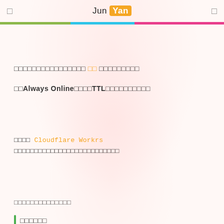Jun Yan
□□□□□□□□□□□□□□□□ □□ □□□□□□□□□
□□Always Online□□□□□TTL□□□□□□□□□□
□□□□ Cloudflare Workrs □□□□□□□□□□□□□□□□□□□□□□□□□□
□□□□□□□□□□□□□□
□□□□□□